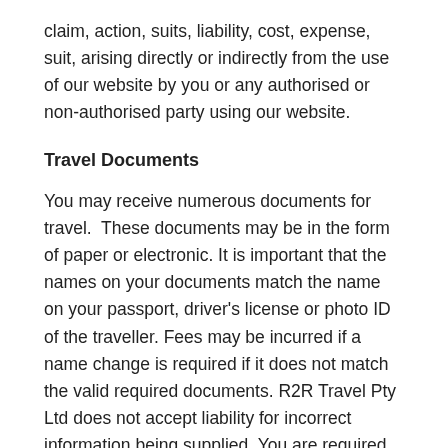claim, action, suits, liability, cost, expense, suit, arising directly or indirectly from the use of our website by you or any authorised or non-authorised party using our website.
Travel Documents
You may receive numerous documents for travel.  These documents may be in the form of paper or electronic. It is important that the names on your documents match the name on your passport, driver's license or photo ID of the traveller. Fees may be incurred if a name change is required if it does not match the valid required documents. R2R Travel Pty Ltd does not accept liability for incorrect information being supplied. You are required to carry with you a copy of your itinerary for all international flight travel.